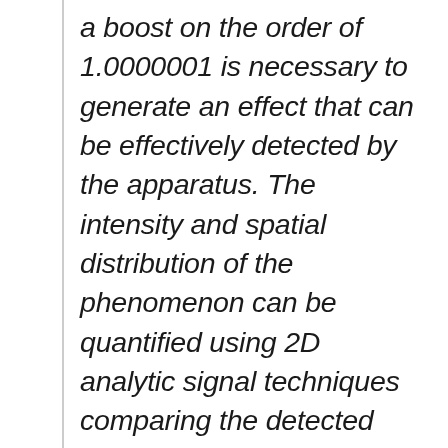a boost on the order of 1.0000001 is necessary to generate an effect that can be effectively detected by the apparatus. The intensity and spatial distribution of the phenomenon can be quantified using 2D analytic signal techniques comparing the detected interferometer fringe plot with the test device off with the detected plot with the device energized